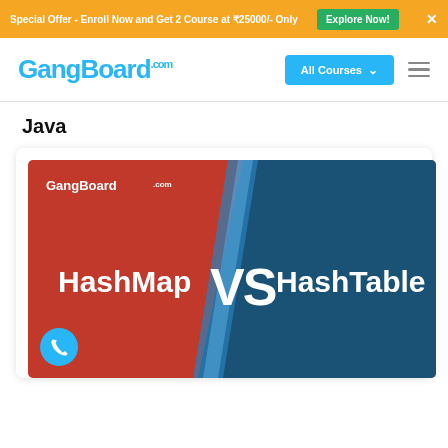Special Offer - Enroll Now and Get 2 Course at ₹25000/- Only  Explore Now!  ✕
GangBoard.com  All Courses ∨  ≡
Java
[Figure (illustration): GangBoard thumbnail image showing HashMap VS HashTable in white text on a split red and blue background with diagonal divider. GangBoard logo in top left corner. A teal phone icon button in bottom left.]